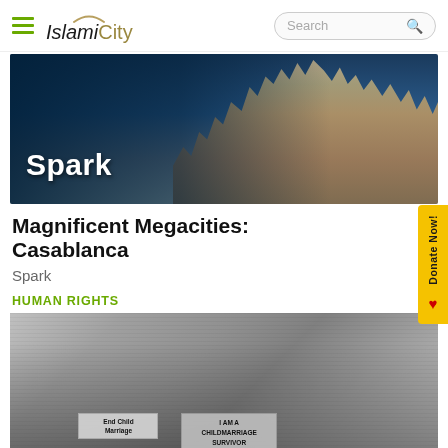IslamiCity — Search bar
[Figure (photo): Spark banner image showing aerial view of Casablanca city skyline with 'Spark' text overlaid in white bold font on dark teal left portion]
Magnificent Megacities: Casablanca
Spark
HUMAN RIGHTS
[Figure (photo): Black and white photo of protest against child marriage; women holding signs reading 'End Child Marriage' and 'I AM A CHILDMARRIAGE SURVIVOR']